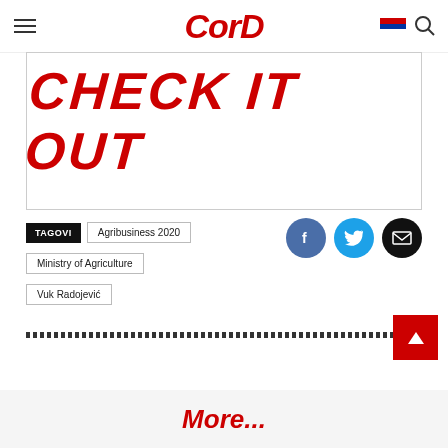CorD
[Figure (other): Banner with text CHECK IT OUT in large red italic letters on white background with border]
TAGOVI  Agribusiness 2020  Ministry of Agriculture  Vuk Radojević
[Figure (other): Social sharing icons: Facebook (blue circle with f), Twitter (cyan circle with bird), Email (black circle with envelope)]
More...